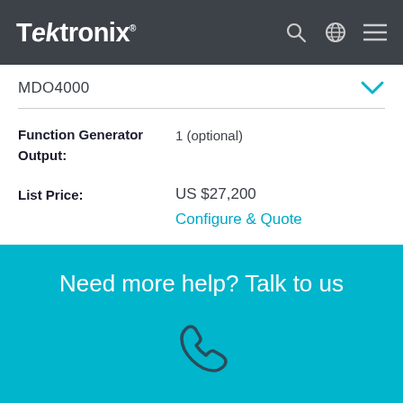Tektronix
MDO4000
Function Generator Output: 1 (optional)
List Price: US $27,200
Configure & Quote
Need more help? Talk to us
[Figure (illustration): Phone handset icon]
Call Us